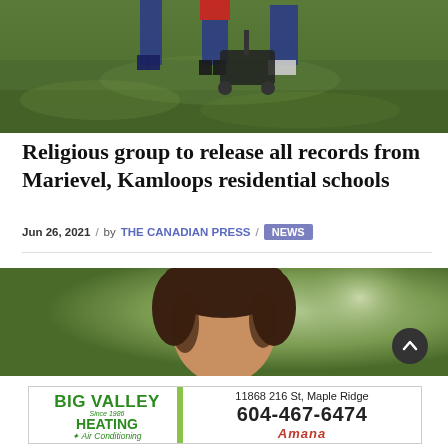[Figure (photo): People standing on a grassy field with ground-penetrating radar equipment]
Religious group to release all records from Marievel, Kamloops residential schools
Jun 26, 2021 / by THE CANADIAN PRESS / NEWS
[Figure (photo): Close-up portrait photo of a person with dark hair outdoors with blurred green background]
[Figure (other): Advertisement for Big Valley Heating & Air Conditioning. Address: 11868 216 St, Maple Ridge. Phone: 604-467-6474. Amana brand logo.]